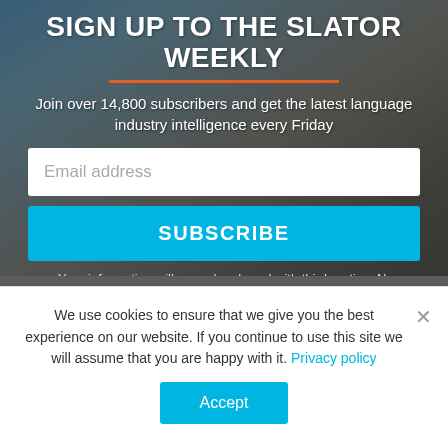SIGN UP TO THE SLATOR WEEKLY
Join over 14,800 subscribers and get the latest language industry intelligence every Friday
[Figure (screenshot): Email address input field (white rounded rectangle with placeholder text 'Email address')]
[Figure (screenshot): SUBSCRIBE button in cyan/blue color]
Your information will never be shared with third parties. No Spam.
[Figure (screenshot): Row of four dark circular social media icons: Facebook, Twitter, YouTube, LinkedIn]
We use cookies to ensure that we give you the best experience on our website. If you continue to use this site we will assume that you are happy with it. Privacy policy
[Figure (screenshot): Accept button in cyan/blue color]